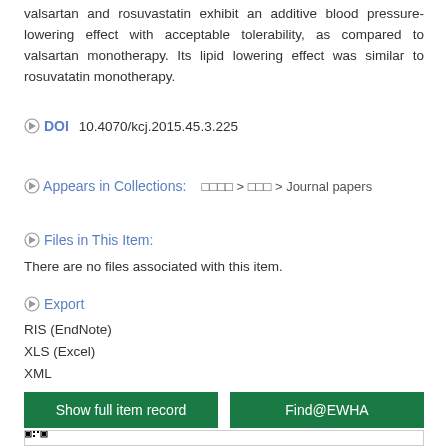valsartan and rosuvastatin exhibit an additive blood pressure-lowering effect with acceptable tolerability, as compared to valsartan monotherapy. Its lipid lowering effect was similar to rosuvatatin monotherapy.
DOI  10.4070/kcj.2015.45.3.225
Appears in Collections:  □□□□ > □□□ > Journal papers
Files in This Item:
There are no files associated with this item.
Export
RIS (EndNote)
XLS (Excel)
XML
Show full item record    Find@EWHA